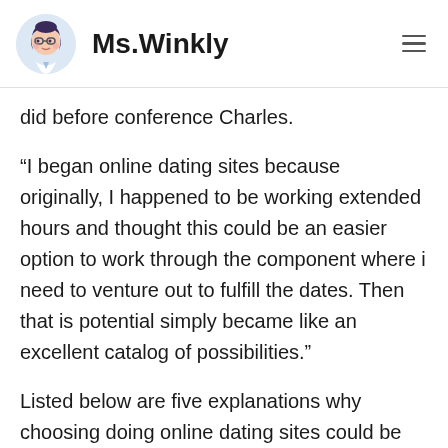Ms.Winkly
did before conference Charles.
“I began online dating sites because originally, I happened to be working extended hours and thought this could be an easier option to work through the component where i need to venture out to fulfill the dates. Then that is potential simply became like an excellent catalog of possibilities.”
Listed below are five explanations why choosing doing online dating sites could be the decision that is smartest you may make: